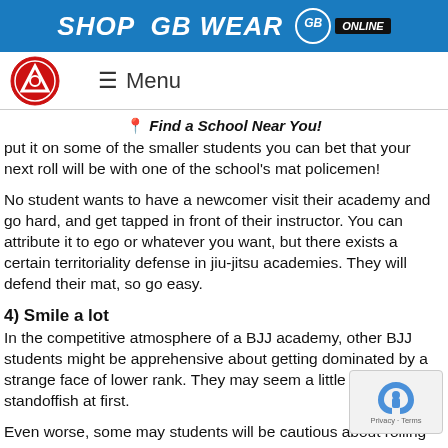SHOP GB WEAR GB ONLINE
≡ Menu
📍 Find a School Near You!
put it on some of the smaller students you can bet that your next roll will be with one of the school's mat policemen!
No student wants to have a newcomer visit their academy and go hard, and get tapped in front of their instructor. You can attribute it to ego or whatever you want, but there exists a certain territoriality defense in jiu-jitsu academies. They will defend their mat, so go easy.
4) Smile a lot
In the competitive atmosphere of a BJJ academy, other BJJ students might be apprehensive about getting dominated by a strange face of lower rank. They may seem a little wary or standoffish at first.
Even worse, some may students will be cautious about rolling w…